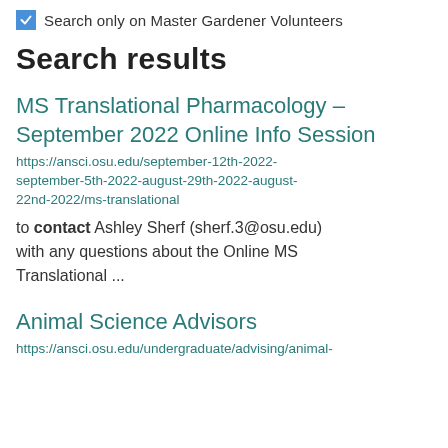Search only on Master Gardener Volunteers
Search results
MS Translational Pharmacology – September 2022 Online Info Session
https://ansci.osu.edu/september-12th-2022-september-5th-2022-august-29th-2022-august-22nd-2022/ms-translational
to contact Ashley Sherf (sherf.3@osu.edu) with any questions about the Online MS Translational ...
Animal Science Advisors
https://ansci.osu.edu/undergraduate/advising/animal-science-advising